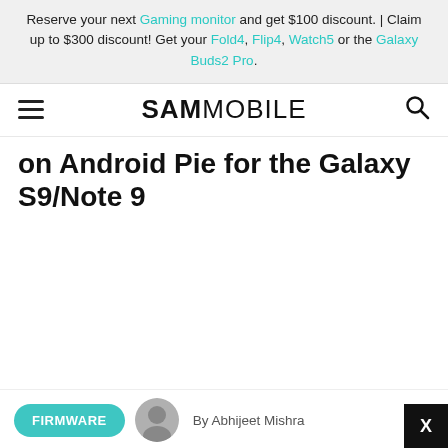Reserve your next Gaming monitor and get $100 discount. | Claim up to $300 discount! Get your Fold4, Flip4, Watch5 or the Galaxy Buds2 Pro.
SAMMOBILE
on Android Pie for the Galaxy S9/Note 9
By Abhijeet Mishra